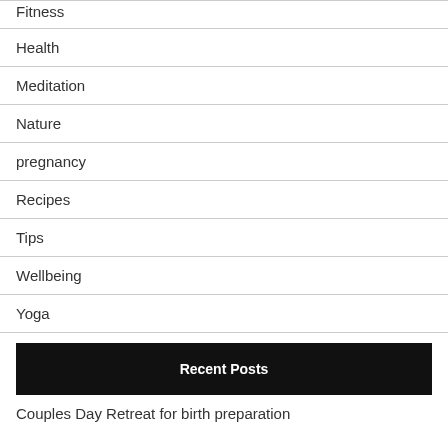Fitness
Health
Meditation
Nature
pregnancy
Recipes
Tips
Wellbeing
Yoga
Recent Posts
Couples Day Retreat for birth preparation